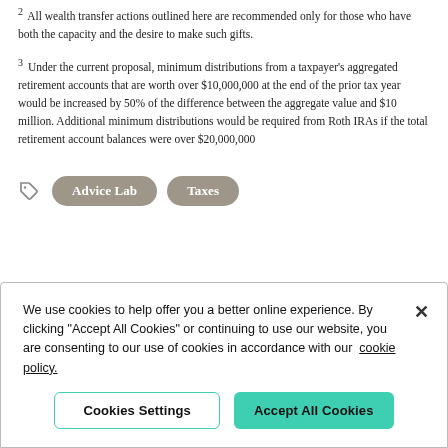2 All wealth transfer actions outlined here are recommended only for those who have both the capacity and the desire to make such gifts.
3 Under the current proposal, minimum distributions from a taxpayer's aggregated retirement accounts that are worth over $10,000,000 at the end of the prior tax year would be increased by 50% of the difference between the aggregate value and $10 million. Additional minimum distributions would be required from Roth IRAs if the total retirement account balances were over $20,000,000
Advice Lab   Taxes
We use cookies to help offer you a better online experience. By clicking "Accept All Cookies" or continuing to use our website, you are consenting to our use of cookies in accordance with our cookie policy.